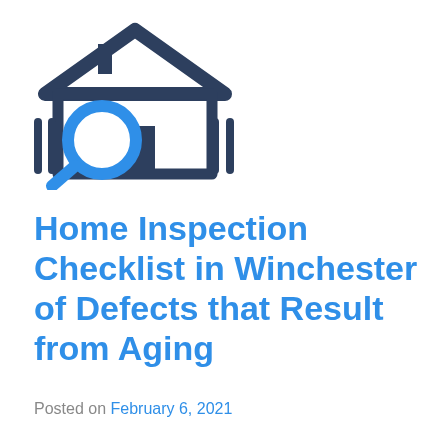[Figure (logo): Home inspection logo: a house outline in dark navy/slate color with a blue magnifying glass overlaid in the center-left of the house]
Home Inspection Checklist in Winchester of Defects that Result from Aging
Posted on February 6, 2021